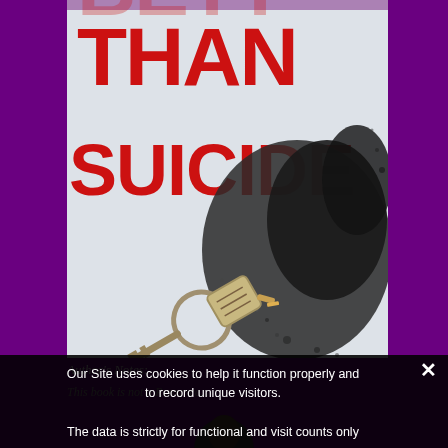[Figure (illustration): Book cover for a thriller titled 'BETTER THAN SUICIDE' showing large red bold text on a light/white background with a key and keychain on a ring, and dark scattered debris/ash spread across the right side of the cover image.]
Author's Notes:
This book is not a Romance...
Our Site uses cookies to help it function properly and to record unique visitors.
The data is strictly for functional and visit counts only